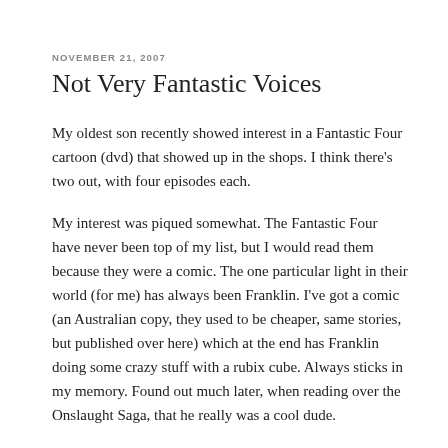NOVEMBER 21, 2007
Not Very Fantastic Voices
My oldest son recently showed interest in a Fantastic Four cartoon (dvd) that showed up in the shops. I think there's two out, with four episodes each.
My interest was piqued somewhat. The Fantastic Four have never been top of my list, but I would read them because they were a comic. The one particular light in their world (for me) has always been Franklin. I've got a comic (an Australian copy, they used to be cheaper, same stories, but published over here) which at the end has Franklin doing some crazy stuff with a rubix cube. Always sticks in my memory. Found out much later, when reading over the Onslaught Saga, that he really was a cool dude.